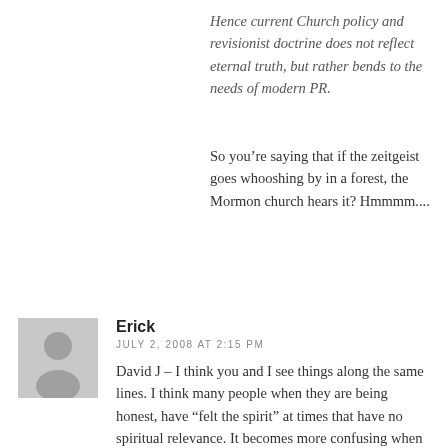Hence current Church policy and revisionist doctrine does not reflect eternal truth, but rather bends to the needs of modern PR.
So you’re saying that if the zeitgeist goes whooshing by in a forest, the Mormon church hears it? Hmmmm....
Erick
JULY 2, 2008 AT 2:15 PM
David J – I think you and I see things along the same lines. I think many people when they are being honest, have “felt the spirit” at times that have no spiritual relevance. It becomes more confusing when mulitiple members “feel the spirit” in conflict with one another, such as